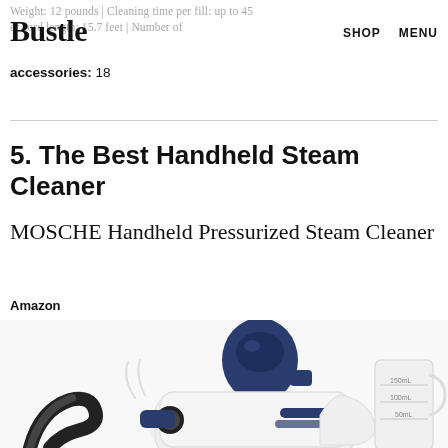Weight: 12 pounds | Cleaning time per fill: up to 45 | er cord length: 15.7 feet | Number of accessories: 18
Bustle   SHOP   MENU
accessories: 18
5. The Best Handheld Steam Cleaner
MOSCHE Handheld Pressurized Steam Cleaner
Amazon
[Figure (photo): Photo of the MOSCHE Handheld Pressurized Steam Cleaner, showing a white and navy blue steam cleaner device with a curved black hose attachment and a white measuring cup with measurement markings (150mL, 100mL, 50mL).]